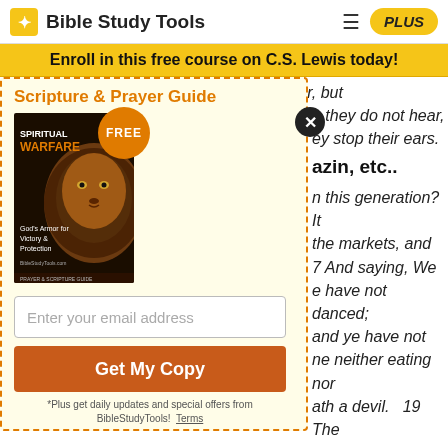Bible Study Tools — PLUS
Enroll in this free course on C.S. Lewis today!
are ignorant, not because they lack power, but
e they do not hear, ey stop their ears.
azin, etc..
n this generation? It the markets, and 7 And saying, We e have not danced; and ye have not ne neither eating nor ath a devil.   19 The d drinking, and they us, and a winebibber, ners. But wisdom is Then began he to
[Figure (illustration): Popup modal with Scripture & Prayer Guide offer for free Spiritual Warfare book, email input, and Get My Copy button. Book cover shows a lion with 'Spiritual Warfare: God's Armor for Victory & Protection' text and FREE badge.]